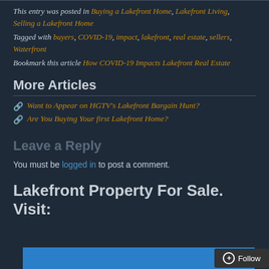This entry was posted in Buying a Lakefront Home, Lakefront Living, Selling a Lakefront Home
Tagged with buyers, COVID-19, impact, lakefront, real estate, sellers, Waterfront
Bookmark this article How COVID-19 Impacts Lakefront Real Estate
More Articles
Want to Appear on HGTV's Lakefront Bargain Hunt?
Are You Buying Your first Lakefront Home?
Leave a Reply
You must be logged in to post a comment.
Lakefront Property For Sale. Visit: